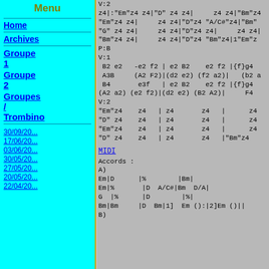Menu
Home
Archives
Groupe 1
Groupe 2
Groupes / Trombino
30/09/20...
17/06/20...
03/06/20...
30/05/20...
27/05/20...
20/05/20...
22/04/20...
V:2
z4|:"Em"z4 z4|"D" z4 z4|      z4 z4|"Bm"z4
"Em"z4 z4|      z4 z4|"D"z4 "A/C#"z4|"Bm"
"G" z4 z4|      z4 z4|"D"z4 z4|      z4 z4|
"Bm"z4 z4|      z4 z4|"D"z4 "Bm"z4|1"Em"z
P:B
V:1
 B2 e2   -e2 f2 | e2 B2    e2 f2 |{f}g4
 A3B     (A2 F2)|(d2 e2) (f2 a2)|   (b2 a
 B4       e3f   | e2 B2    e2 f2 |{f}g4
(A2 a2) (e2 f2)|(d2 e2) (B2 A2)|     F4
V:2
"Em"z4    z4   | z4       z4   |      z4
"D" z4    z4   | z4       z4   |      z4
"Em"z4    z4   | z4       z4   |      z4
"D" z4    z4   | z4       z4   |"Bm"z4
MIDI
Accords :
A)
Em|D      |%        |Bm|
Em|%       |D  A/C#|Bm  D/A|
G  |%       |D        |%|
Bm|Bm      |D  Bm|1]  Em ():|2]Em ()|
B)